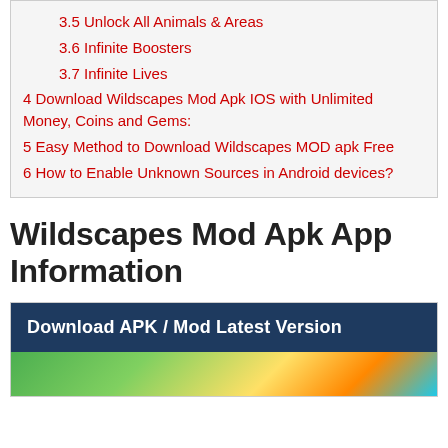3.5 Unlock All Animals & Areas
3.6 Infinite Boosters
3.7 Infinite Lives
4 Download Wildscapes Mod Apk IOS with Unlimited Money, Coins and Gems:
5 Easy Method to Download Wildscapes MOD apk Free
6 How to Enable Unknown Sources in Android devices?
Wildscapes Mod Apk App Information
| Download APK / Mod Latest Version |
| --- |
| [image] |